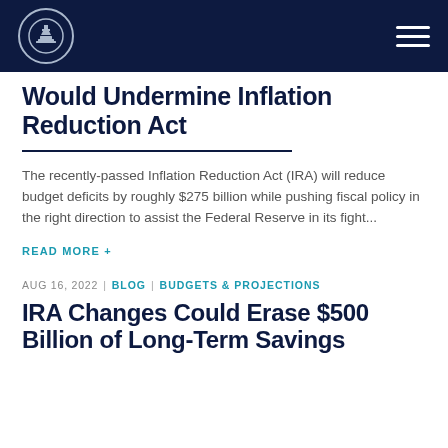[Navigation header with logo and menu]
Would Undermine Inflation Reduction Act
The recently-passed Inflation Reduction Act (IRA) will reduce budget deficits by roughly $275 billion while pushing fiscal policy in the right direction to assist the Federal Reserve in its fight...
READ MORE +
AUG 16, 2022 | BLOG | BUDGETS & PROJECTIONS
IRA Changes Could Erase $500 Billion of Long-Term Savings